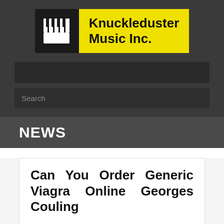[Figure (logo): Knuckleduster Music Inc. logo with piano keys fist icon on black background and yellow text box]
NEWS
Can You Order Generic Viagra Online Georges Couling
can you order generic viagra online viagra Amsterdam top selling male enhancement pills